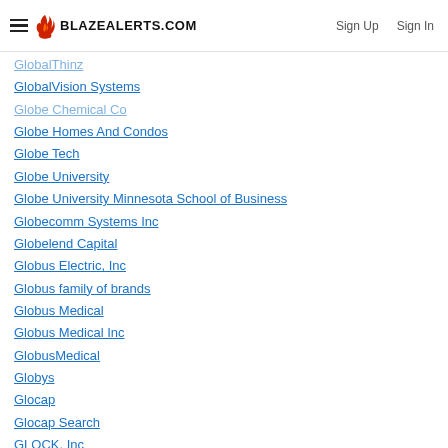BLAZEALERTS.COM | Sign Up | Sign In
GlobalThinz
GlobalVision Systems
Globe Chemical Co
Globe Homes And Condos
Globe Tech
Globe University
Globe University Minnesota School of Business
Globecomm Systems Inc
Globelend Capital
Globus Electric, Inc
Globus family of brands
Globus Medical
Globus Medical Inc
GlobusMedical
Globys
Glocap
Glocap Search
GLOCK, Inc
Glocomms
Gloenco an AFGlobal Company
Gloria jeans coffees
Glory
GLORY DAYS GRILL OF WINCHESTER